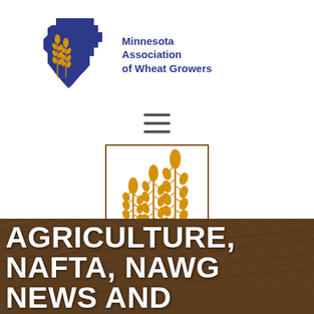[Figure (logo): Minnesota Association of Wheat Growers logo: blue silhouette of Minnesota state shape with golden wheat stalks on the left side, accompanied by text 'Minnesota Association of Wheat Growers' in dark blue to the right]
[Figure (other): Hamburger menu icon: three horizontal dark grey lines stacked vertically, centered on the page]
[Figure (logo): NAWG (National Association of Wheat Growers) logo: three wheat stalks of increasing height displayed inside a brown rectangular border, rendered in orange/golden tones]
CENSUS OF AGRICULTURE, NAFTA, NAWG NEWS AND